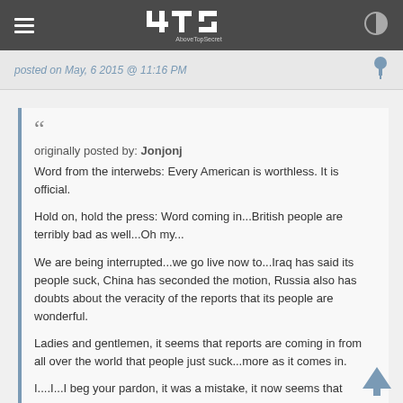ATS AboveTopSecret
posted on May, 6 2015 @ 11:16 PM
originally posted by: Jonjonj
Word from the interwebs: Every American is worthless. It is official.

Hold on, hold the press: Word coming in...British people are terribly bad as well...Oh my...

We are being interrupted...we go live now to...Iraq has said its people suck, China has seconded the motion, Russia also has doubts about the veracity of the reports that its people are wonderful.

Ladies and gentlemen, it seems that reports are coming in from all over the world that people just suck...more as it comes in.

I....I...I beg your pardon, it was a mistake, it now seems that